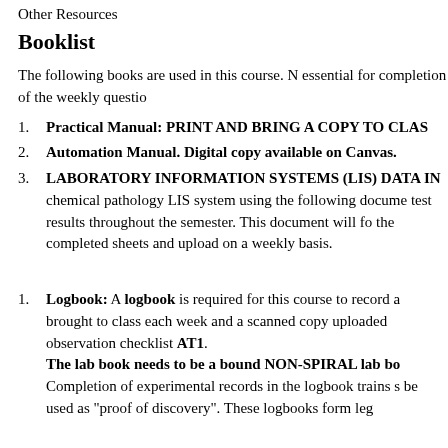Other Resources
Booklist
The following books are used in this course. N essential for completion of the weekly questio
Practical Manual: PRINT AND BRING A COPY TO CLAS
Automation Manual. Digital copy available on Canvas.
LABORATORY INFORMATION SYSTEMS (LIS) DATA IN chemical pathology LIS system using the following docume test results throughout the semester. This document will fo the completed sheets and upload on a weekly basis.
Logbook: A logbook is required for this course to record a brought to class each week and a scanned copy uploaded observation checklist AT1. The lab book needs to be a bound NON-SPIRAL lab bo Completion of experimental records in the logbook trains s be used as "proof of discovery". These logbooks form leg